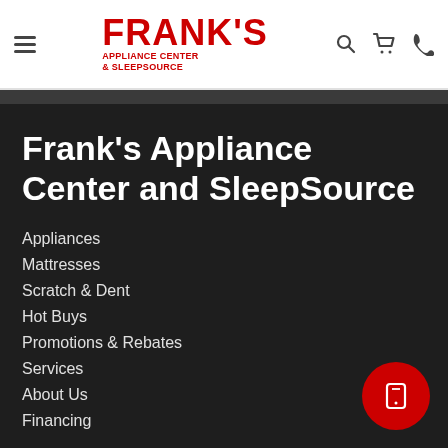[Figure (logo): Frank's Appliance Center & SleepSource logo in red with hamburger menu icon on left and search, cart, phone icons on right]
Frank's Appliance Center and SleepSource
Appliances
Mattresses
Scratch & Dent
Hot Buys
Promotions & Rebates
Services
About Us
Financing